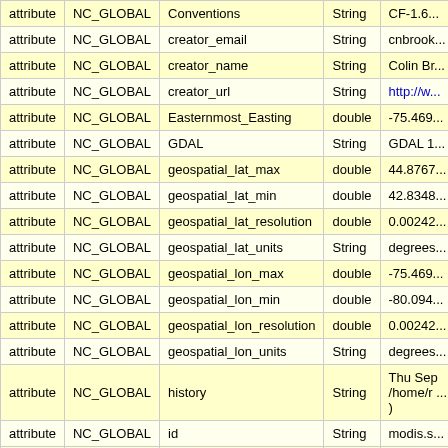|  | NC_GLOBAL | Name | Type | Value |
| --- | --- | --- | --- | --- |
| attribute | NC_GLOBAL | Conventions | String | CF-1.6... |
| attribute | NC_GLOBAL | creator_email | String | cnbrook... |
| attribute | NC_GLOBAL | creator_name | String | Colin Br... |
| attribute | NC_GLOBAL | creator_url | String | http://w... |
| attribute | NC_GLOBAL | Easternmost_Easting | double | -75.469... |
| attribute | NC_GLOBAL | GDAL | String | GDAL 1... |
| attribute | NC_GLOBAL | geospatial_lat_max | double | 44.8767... |
| attribute | NC_GLOBAL | geospatial_lat_min | double | 42.8348... |
| attribute | NC_GLOBAL | geospatial_lat_resolution | double | 0.00242... |
| attribute | NC_GLOBAL | geospatial_lat_units | String | degrees... |
| attribute | NC_GLOBAL | geospatial_lon_max | double | -75.469... |
| attribute | NC_GLOBAL | geospatial_lon_min | double | -80.094... |
| attribute | NC_GLOBAL | geospatial_lon_resolution | double | 0.00242... |
| attribute | NC_GLOBAL | geospatial_lon_units | String | degrees... |
| attribute | NC_GLOBAL | history | String | Thu Sep /home/r ... ) |
| attribute | NC_GLOBAL | id | String | modis.s... |
| attribute | NC_GLOBAL | infoUrl | String | http://w... |
| attribute | NC_GLOBAL | institution | String | MTRI |
| attribute | NC_GLOBAL |  | String | aggrega... |